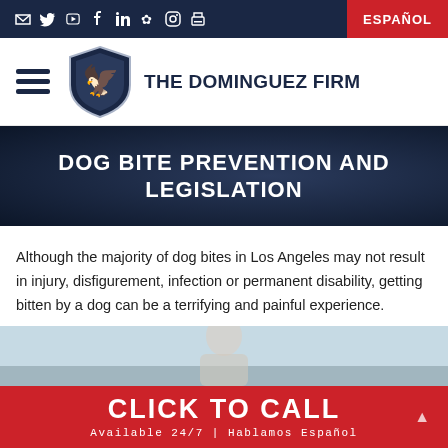Social icons: email, twitter, youtube, facebook, linkedin, yelp, instagram, print | ESPAÑOL
[Figure (logo): The Dominguez Firm logo with eagle shield emblem and firm name]
DOG BITE PREVENTION AND LEGISLATION
Although the majority of dog bites in Los Angeles may not result in injury, disfigurement, infection or permanent disability, getting bitten by a dog can be a terrifying and painful experience.
[Figure (photo): Person outdoors, partially visible at bottom of content area]
CLICK TO CALL
Available 24/7 | Hablamos Español